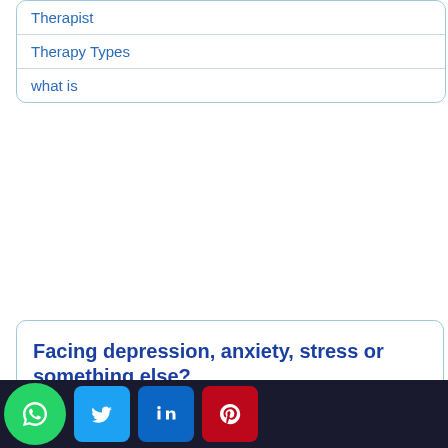Therapist
Therapy Types
what is
Facing depression, anxiety, stress or something else?
Improve your emotional wellbeing whenever and wherever you want
Take a free assessment
[Figure (infographic): Social media icons: WhatsApp (green circle), Twitter (blue rounded square), LinkedIn (blue rounded square), Pinterest (red rounded square)]